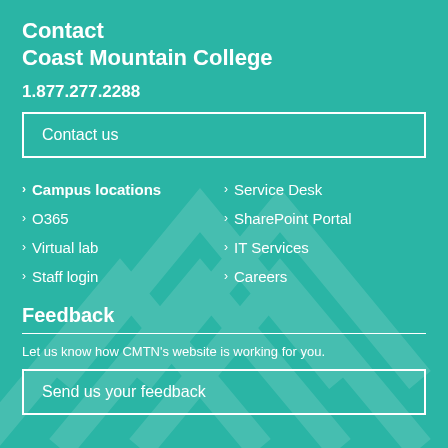Contact Coast Mountain College
1.877.277.2288
Contact us
Campus locations
O365
Virtual lab
Staff login
Service Desk
SharePoint Portal
IT Services
Careers
Feedback
Let us know how CMTN's website is working for you.
Send us your feedback